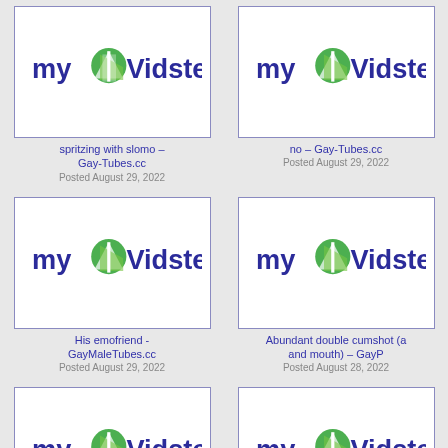[Figure (screenshot): myVidster placeholder thumbnail (cropped top)]
spritzing with slomo – Gay-Tubes.cc
Posted August 29, 2022
[Figure (screenshot): myVidster placeholder thumbnail (cropped top right)]
no – Gay-Tubes.cc
Posted August 29, 2022
[Figure (screenshot): myVidster placeholder thumbnail]
His emofriend - GayMaleTubes.cc
Posted August 29, 2022
[Figure (screenshot): myVidster placeholder thumbnail (right, cropped)]
Abundant double cumshot (a and mouth) – GayP
Posted August 28, 2022
[Figure (screenshot): myVidster placeholder thumbnail (bottom left, partial)]
[Figure (screenshot): myVidster placeholder thumbnail (bottom right, partial)]